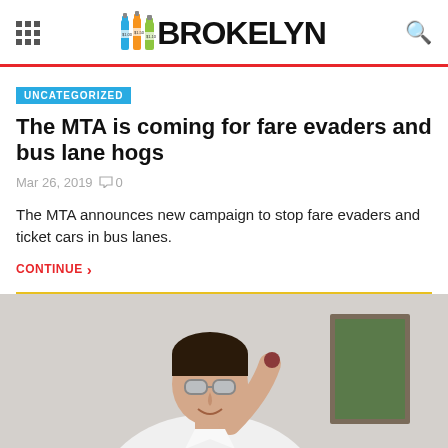BROKELYN
UNCATEGORIZED
The MTA is coming for fare evaders and bus lane hogs
Mar 26, 2019  0
The MTA announces new campaign to stop fare evaders and ticket cars in bus lanes.
CONTINUE >
[Figure (photo): Man in white shirt and aviator sunglasses holding something small up near his face, smiling.]